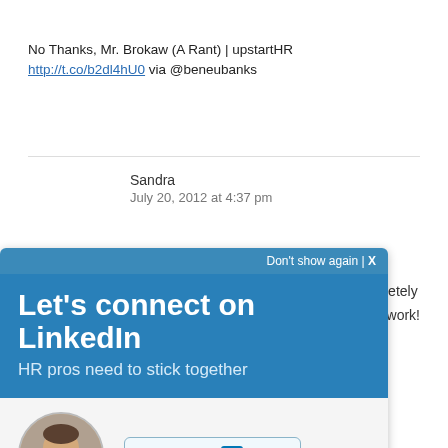No Thanks, Mr. Brokaw (A Rant) | upstartHR
http://t.co/b2dl4hU0 via @beneubanks
Sandra
July 20, 2012 at 4:37 pm
...completely
great work!
[Figure (screenshot): LinkedIn overlay widget with heading 'Let's connect on LinkedIn', subheading 'HR pros need to stick together', a user avatar photo, LinkedIn profile button, and 'Don't show again | X' dismiss link]